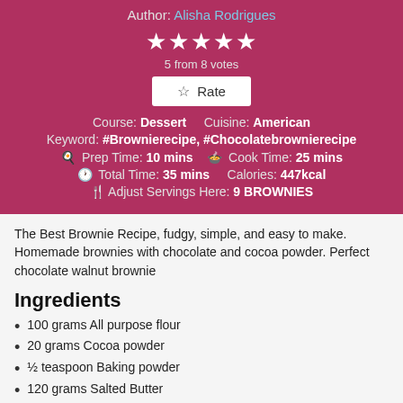Author: Alisha Rodrigues
[Figure (other): 5 filled star rating icons]
5 from 8 votes
☆ Rate
Course: Dessert    Cuisine: American
Keyword: #Brownierecipe, #Chocolatebrownierecipe
Prep Time: 10 mins    Cook Time: 25 mins
Total Time: 35 mins    Calories: 447kcal
Adjust Servings Here: 9 BROWNIES
The Best Brownie Recipe, fudgy, simple, and easy to make. Homemade brownies with chocolate and cocoa powder. Perfect chocolate walnut brownie
Ingredients
100 grams All purpose flour
20 grams Cocoa powder
½ teaspoon Baking powder
120 grams Salted Butter